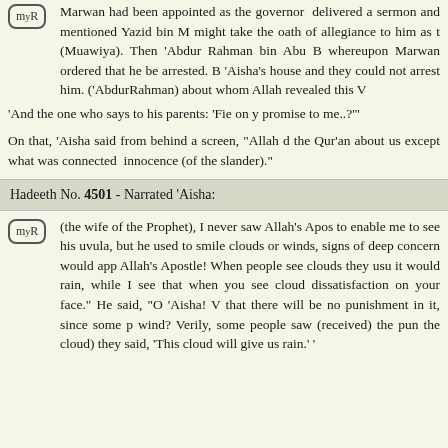Marwan had been appointed as the governor... delivered a sermon and mentioned Yazid bin M... might take the oath of allegiance to him as the (Muawiya). Then 'Abdur Rahman bin Abu B... whereupon Marwan ordered that he be arrested. B... 'Aisha's house and they could not arrest him. ('AbdurRahman) about whom Allah revealed this V...
'And the one who says to his parents: 'Fie on y... promise to me..?'"
On that, 'Aisha said from behind a screen, "Allah d... the Qur'an about us except what was connected ... innocence (of the slander)."
Hadeeth No. 4501 - Narrated 'Aisha:
(the wife of the Prophet), I never saw Allah's Apos... to enable me to see his uvula, but he used to smile ... clouds or winds, signs of deep concern would app... Allah's Apostle! When people see clouds they usu... it would rain, while I see that when you see cloud... dissatisfaction on your face." He said, "O 'Aisha! V... that there will be no punishment in it, since some p... wind? Verily, some people saw (received) the pun... the cloud) they said, 'This cloud will give us rain.' "